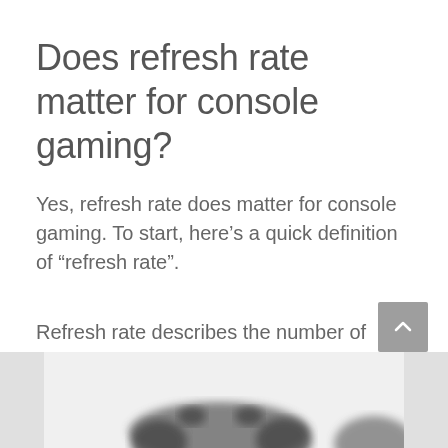Does refresh rate matter for console gaming?
Yes, refresh rate does matter for console gaming. To start, here’s a quick definition of “refresh rate”.
Refresh rate describes the number of times a monitor redraws its image each second. Matching your refresh rate with your frame rate will create a better overall experience.
[Figure (photo): Partial view of a game controller silhouetted against a white/light background at the bottom of the page.]